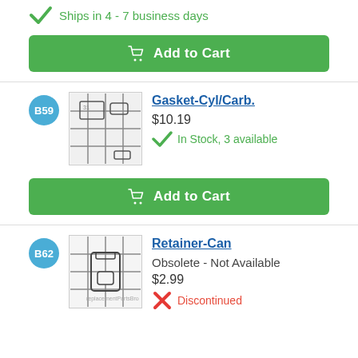Ships in 4 - 7 business days
Add to Cart
B59
[Figure (photo): Product image of gasket set showing multiple gaskets and rings arranged on grid background]
Gasket-Cyl/Carb.
$10.19
In Stock, 3 available
Add to Cart
B62
[Figure (photo): Product image of retainer can part shown on grid background]
Retainer-Can
Obsolete - Not Available
$2.99
Discontinued